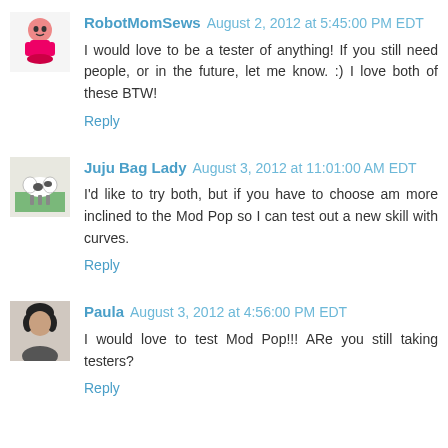RobotMomSews August 2, 2012 at 5:45:00 PM EDT
I would love to be a tester of anything! If you still need people, or in the future, let me know. :) I love both of these BTW!
Reply
Juju Bag Lady August 3, 2012 at 11:01:00 AM EDT
I'd like to try both, but if you have to choose am more inclined to the Mod Pop so I can test out a new skill with curves.
Reply
Paula August 3, 2012 at 4:56:00 PM EDT
I would love to test Mod Pop!!! ARe you still taking testers?
Reply